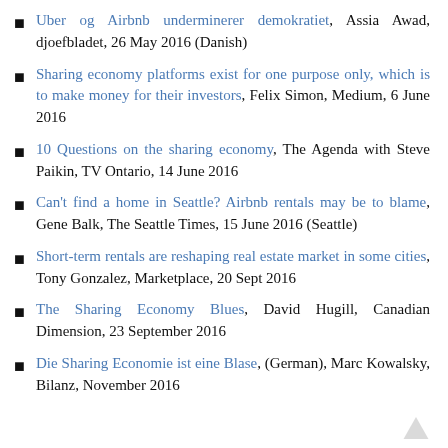Uber og Airbnb underminerer demokratiet, Assia Awad, djoefbladet, 26 May 2016 (Danish)
Sharing economy platforms exist for one purpose only, which is to make money for their investors, Felix Simon, Medium, 6 June 2016
10 Questions on the sharing economy, The Agenda with Steve Paikin, TV Ontario, 14 June 2016
Can't find a home in Seattle? Airbnb rentals may be to blame, Gene Balk, The Seattle Times, 15 June 2016 (Seattle)
Short-term rentals are reshaping real estate market in some cities, Tony Gonzalez, Marketplace, 20 Sept 2016
The Sharing Economy Blues, David Hugill, Canadian Dimension, 23 September 2016
Die Sharing Economie ist eine Blase, (German), Marc Kowalsky, Bilanz, November 2016